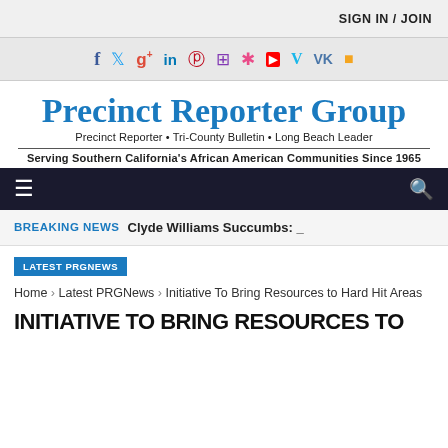SIGN IN / JOIN
[Figure (infographic): Social media icons row: Facebook, Twitter, Google+, LinkedIn, Pinterest, Instagram, Dribbble, YouTube, Vimeo, VK, RSS]
[Figure (logo): Precinct Reporter Group logo in blue blackletter font. Subtitle: Precinct Reporter • Tri-County Bulletin • Long Beach Leader. Tagline: Serving Southern California's African American Communities Since 1965]
≡ [hamburger menu] [search icon]
BREAKING NEWS   Clyde Williams Succumbs: _
LATEST PRGNEWS
Home › Latest PRGNews › Initiative To Bring Resources to Hard Hit Areas
INITIATIVE TO BRING RESOURCES TO